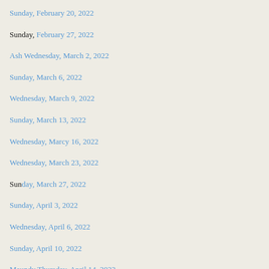Sunday, February 20, 2022
Sunday, February 27, 2022
Ash Wednesday, March 2, 2022
Sunday, March 6, 2022
Wednesday, March 9, 2022
Sunday, March 13, 2022
Wednesday, Marcy 16, 2022
Wednesday, March 23, 2022
Sunday, March 27, 2022
Sunday, April 3, 2022
Wednesday, April 6, 2022
Sunday, April 10, 2022
Maundy Thursday, April 14, 2022